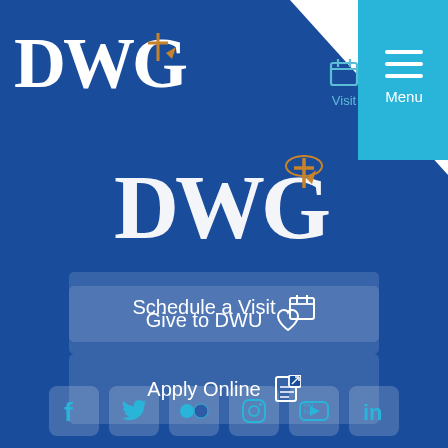[Figure (screenshot): DWU university website mobile view with logo, navigation bar (Visit, Apply, Menu), three CTA buttons (Schedule a Visit, Apply Online, Give to DWU), and social media icons row]
DWG
Visit
Apply
Menu
DWG
Schedule a Visit
Apply Online
Give to DWU